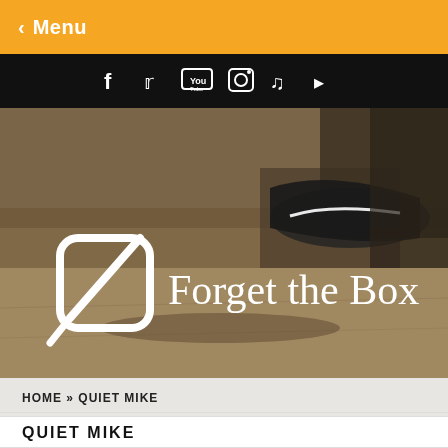< Menu
[Figure (screenshot): Black social media icon bar with Facebook, Twitter, YouTube, Instagram, SoundCloud, and RSS icons in white on black background]
[Figure (photo): Hero image showing feet/sneakers on pavement with 'Forget the Box' logo overlay including a stylized zero/phi symbol in white]
HOME » QUIET MIKE
QUIET MIKE